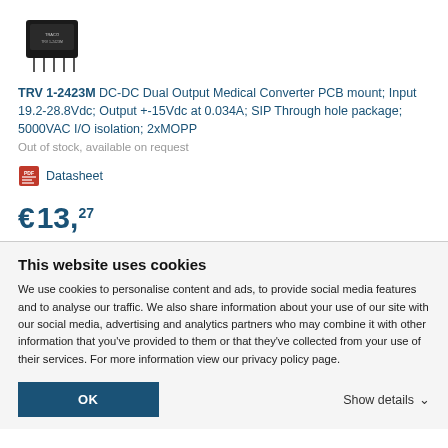[Figure (photo): Black electronic component (DC-DC converter module) on white background]
TRV 1-2423M DC-DC Dual Output Medical Converter PCB mount; Input 19.2-28.8Vdc; Output +-15Vdc at 0.034A; SIP Through hole package; 5000VAC I/O isolation; 2xMOPP
Out of stock, available on request
Datasheet
€ 13,27
This website uses cookies
We use cookies to personalise content and ads, to provide social media features and to analyse our traffic. We also share information about your use of our site with our social media, advertising and analytics partners who may combine it with other information that you've provided to them or that they've collected from your use of their services. For more information view our privacy policy page.
OK
Show details